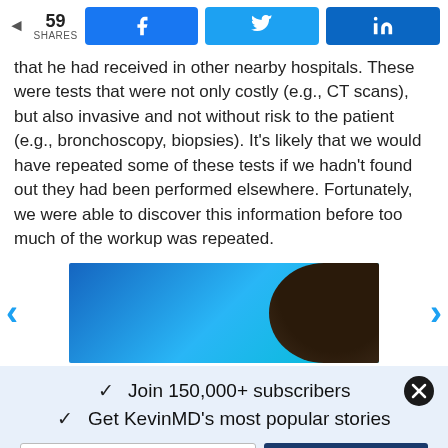59 SHARES  [Facebook share] [Twitter share] [LinkedIn share]
that he had received in other nearby hospitals. These were tests that were not only costly (e.g., CT scans), but also invasive and not without risk to the patient (e.g., bronchoscopy, biopsies). It's likely that we would have repeated some of these tests if we hadn't found out they had been performed elsewhere. Fortunately, we were able to discover this information before too much of the workup was repeated.
[Figure (photo): Advertisement or article image showing a person's head/hair against a blue gradient background, with left and right carousel navigation arrows.]
✓  Join 150,000+ subscribers
✓  Get KevinMD's most popular stories
Email   Subscribe. It's free.